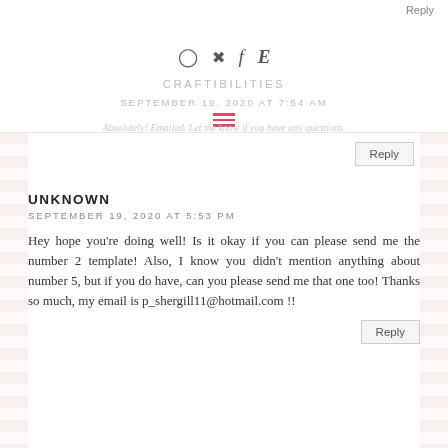Reply | CRAFTIBILITIES | SEPTEMBER 19, 2020 AT 7:54 AM
UNKNOWN
SEPTEMBER 19, 2020 AT 5:53 PM
Hey hope you're doing well! Is it okay if you can please send me the number 2 template! Also, I know you didn't mention anything about number 5, but if you do have, can you please send me that one too! Thanks so much, my email is p_shergill11@hotmail.com !!
CRAFTIBILITIES
SEPTEMBER 21, 2020 AT 5:00 PM
Absolutely! Emailed. Let me know if you have any questions.